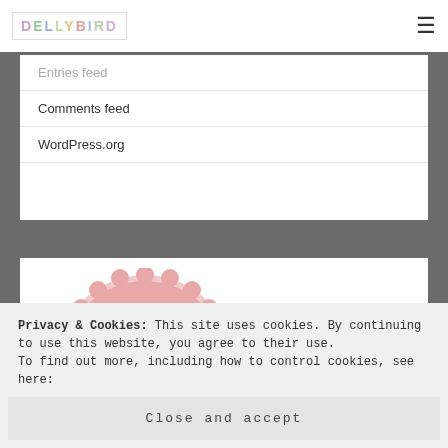DELLYBIRD
Entries feed
Comments feed
WordPress.org
[Figure (illustration): Shirley's book blogger badge — pink scalloped circle with cursive text]
Privacy & Cookies: This site uses cookies. By continuing to use this website, you agree to their use. To find out more, including how to control cookies, see here:
Close and accept